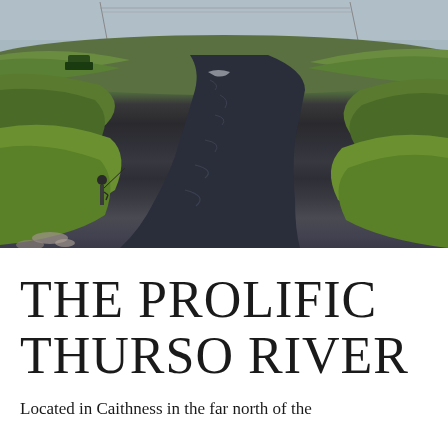[Figure (photo): Aerial/elevated view of the Thurso River winding through green moorland/grassland in Caithness, Scotland. A river curves through lush green grass banks under an overcast sky. Power lines visible in the background. A fisherman stands on the left bank.]
THE PROLIFIC THURSO RIVER
Located in Caithness in the far north of the